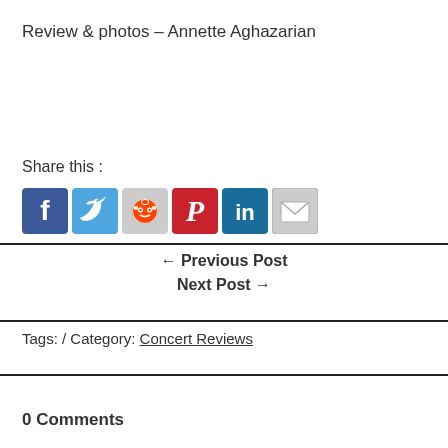Review & photos – Annette Aghazarian
Share this :
[Figure (infographic): Social sharing icons: Facebook, Twitter, Reddit, Pinterest, LinkedIn, Email]
← Previous Post
Next Post →
Tags: / Category: Concert Reviews
0 Comments